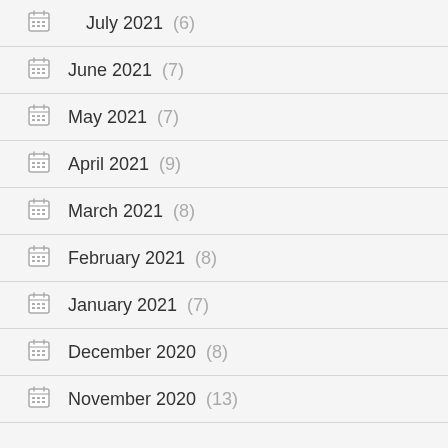July 2021 (6)
June 2021 (7)
May 2021 (7)
April 2021 (9)
March 2021 (8)
February 2021 (8)
January 2021 (7)
December 2020 (8)
November 2020 (13)